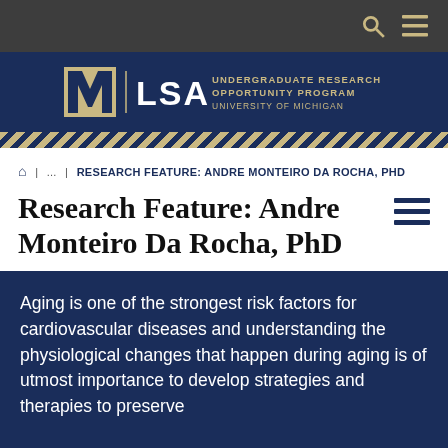University of Michigan LSA Undergraduate Research Opportunity Program
🏠 | ... | RESEARCH FEATURE: ANDRE MONTEIRO DA ROCHA, PHD
Research Feature: Andre Monteiro Da Rocha, PhD
Aging is one of the strongest risk factors for cardiovascular diseases and understanding the physiological changes that happen during aging is of utmost importance to develop strategies and therapies to preserve